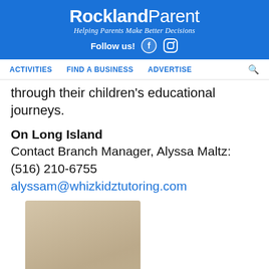Rockland Parent — Helping Parents Make Better Decisions — Follow us!
ACTIVITIES    FIND A BUSINESS    ADVERTISE
through their children's educational journeys.
On Long Island
Contact Branch Manager, Alyssa Maltz: (516) 210-6755
alyssam@whizkidztutoring.com
[Figure (photo): Headshot of a woman with shoulder-length dark brown hair, smiling, wearing a dark floral top, photographed against a light beige background.]